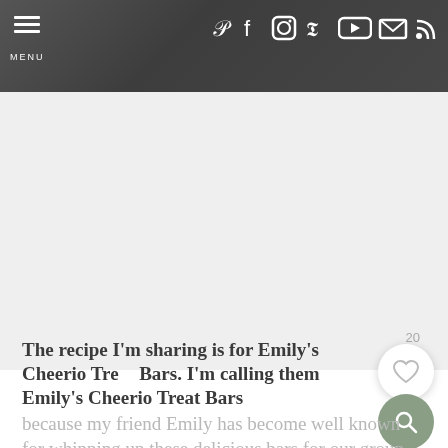MENU [navigation bar with social icons: Pinterest, Facebook, Instagram, Twitter, YouTube, Email, RSS]
[Figure (photo): Large white/light gray image area below the navigation bar — appears to be a food photo placeholder or image of Cheerio Treat Bars]
The recipe I'm sharing is for Emily's Cheerio Treat Bars. I'm calling them Emily's Cheerio Treat Bars because my friend Emily has become well known for whipping up these delicious bars for our group